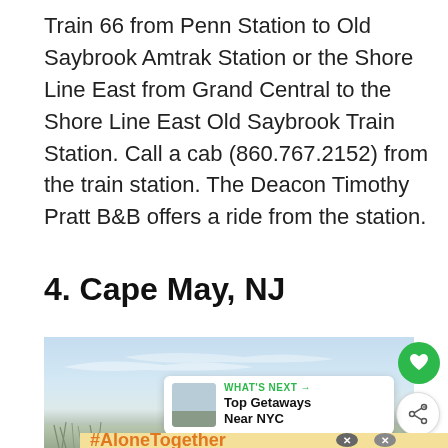Train 66 from Penn Station to Old Saybrook Amtrak Station or the Shore Line East from Grand Central to the Shore Line East Old Saybrook Train Station. Call a cab (860.767.2152) from the train station. The Deacon Timothy Pratt B&B offers a ride from the station.
4. Cape May, NJ
[Figure (photo): Coastal landscape with a light blue sky, wisps of clouds, and sparse beach grass or dune vegetation at the bottom. A 'What's Next' promotional box appears in the lower right with label 'Top Getaways Near NYC'. Heart (favorite) and share buttons are overlaid on the right side.]
[Figure (screenshot): Yellow advertisement banner at the bottom showing '#AloneTogether' in orange bold text on a yellow background, with close (X) buttons and a small weather widget icon.]